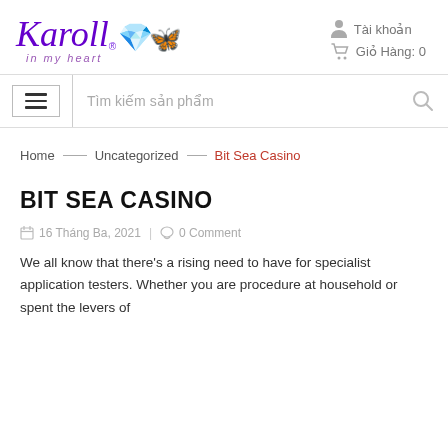[Figure (logo): Karoll 'in my heart' logo in purple cursive with a heart icon]
Tài khoản
Giỏ Hàng: 0
[Figure (infographic): Navigation bar with hamburger menu icon and search box reading 'Tìm kiếm sản phẩm']
Home — Uncategorized — Bit Sea Casino
BIT SEA CASINO
16 Tháng Ba, 2021 | 0 Comment
We all know that there's a rising need to have for specialist application testers. Whether you are procedure at household or spent the levers of